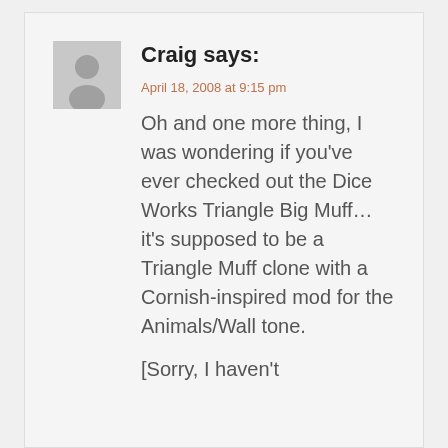Craig says:
April 18, 2008 at 9:15 pm
Oh and one more thing, I was wondering if you’ve ever checked out the Dice Works Triangle Big Muff…it’s supposed to be a Triangle Muff clone with a Cornish-inspired mod for the Animals/Wall tone.
[Sorry, I haven't